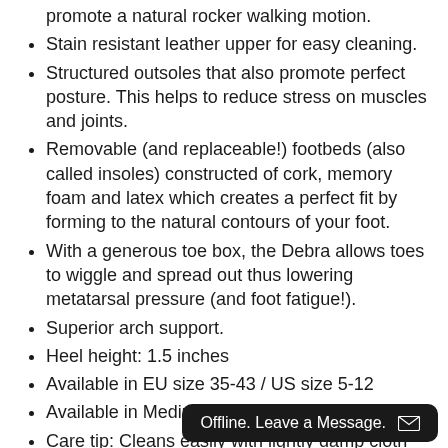promote a natural rocker walking motion. (partial/truncated)
Stain resistant leather upper for easy cleaning.
Structured outsoles that also promote perfect posture. This helps to reduce stress on muscles and joints.
Removable (and replaceable!) footbeds (also called insoles) constructed of cork, memory foam and latex which creates a perfect fit by forming to the natural contours of your foot.
With a generous toe box, the Debra allows toes to wiggle and spread out thus lowering metatarsal pressure (and foot fatigue!).
Superior arch support.
Heel height: 1.5 inches
Available in EU size 35-43 / US size 5-12
Available in Medium and Wide widths
Care tip: Cleans easily with lightly damp cloth
Clearance items are final sale.
Offline. Leave a Message.